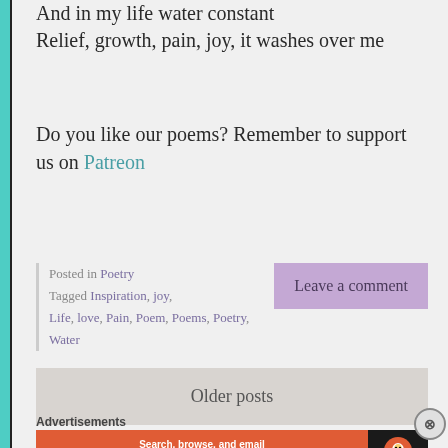And in my life water constant
Relief, growth, pain, joy, it washes over me
Do you like our poems? Remember to support us on Patreon
Posted in Poetry
Tagged Inspiration, joy, Life, love, Pain, Poem, Poems, Poetry, Water
Leave a comment
Older posts
Advertisements
[Figure (other): DuckDuckGo advertisement banner: Search, browse, and email with more privacy. All in One Free App]